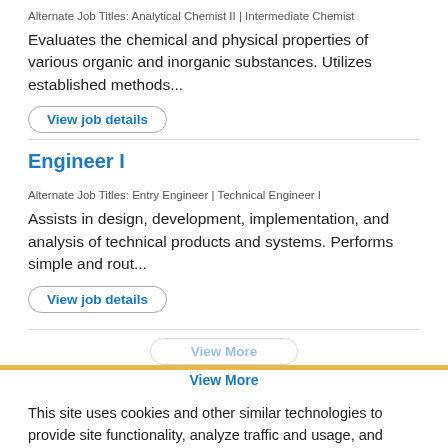Alternate Job Titles: Analytical Chemist II | Intermediate Chemist
Evaluates the chemical and physical properties of various organic and inorganic substances. Utilizes established methods...
View job details
Engineer I
Alternate Job Titles: Entry Engineer | Technical Engineer I
Assists in design, development, implementation, and analysis of technical products and systems. Performs simple and rout...
View job details
View More
This site uses cookies and other similar technologies to provide site functionality, analyze traffic and usage, and deliver content tailored to your interests. | Learn More
Ad · https://somewhere.net/resources/aerospace/facebook
Aerospace & Defense Computing - New Rugged MIoT Technologies
I Accept